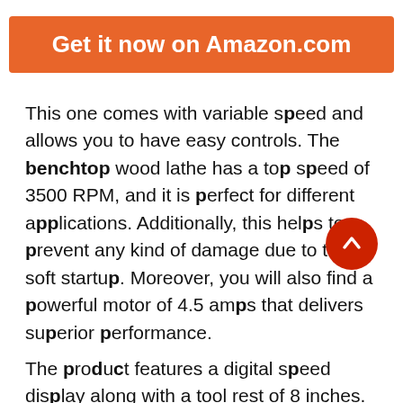Get it now on Amazon.com
This one comes with variable speed and allows you to have easy controls. The benchtop wood lathe has a top speed of 3500 RPM, and it is perfect for different applications. Additionally, this helps to prevent any kind of damage due to the soft startup. Moreover, you will also find a powerful motor of 4.5 amps that delivers superior performance.
The product features a digital speed display along with a tool rest of 8 inches. This also has improved capacity and is available in a complete